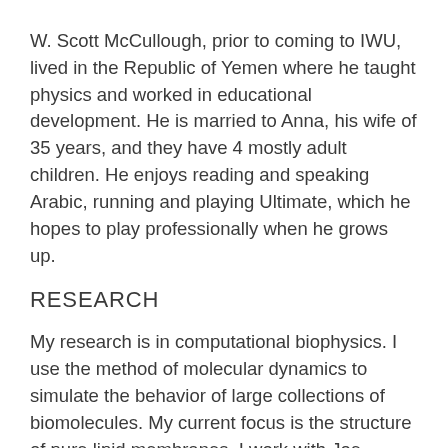W. Scott McCullough, prior to coming to IWU, lived in the Republic of Yemen where he taught physics and worked in educational development. He is married to Anna, his wife of 35 years, and they have 4 mostly adult children. He enjoys reading and speaking Arabic, running and playing Ultimate, which he hopes to play professionally when he grows up.
RESEARCH
My research is in computational biophysics. I use the method of molecular dynamics to simulate the behavior of large collections of biomolecules. My current focus is the structure of pure lipid membranes. I work with Joe Hoffert of the Computer Science department and regularly communicate with biologists and biophysicists at IWU and other universities.
To carry out these simulations, the department has a